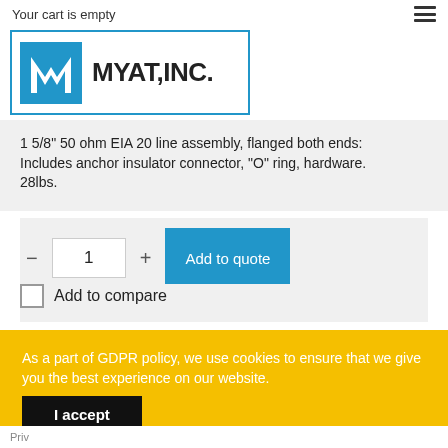Your cart is empty
[Figure (logo): MYAT, INC. logo with blue M block and bold text]
1 5/8" 50 ohm EIA 20 line assembly, flanged both ends: Includes anchor insulator connector, "O" ring, hardware. 28lbs.
- 1 + Add to quote
Add to compare
As a part of GDPR policy, we use cookies to ensure that we give you the best experience on our website.
I accept